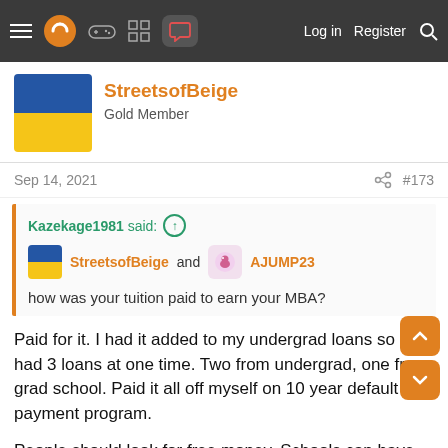Navigation bar with menu, logo, controller, grid, chat icons, Log in, Register, Search
StreetsofBeige
Gold Member
Sep 14, 2021   #173
Kazekage1981 said: ↑
StreetsofBeige and AJUMP23
how was your tuition paid to earn your MBA?
Paid for it. I had it added to my undergrad loans so I had 3 loans at one time. Two from undergrad, one from grad school. Paid it all off myself on 10 year default payment program.
People should look for free money. Schools can have bursuries. I got a bunch back. All I did back then was fill out some application form hoping they'd say yes. They did. Schools have tons of money they got to get rid of. So